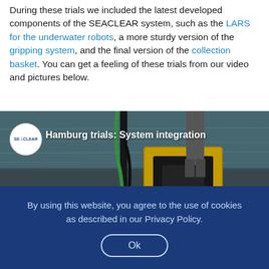During these trials we included the latest developed components of the SEACLEAR system, such as the LARS for the underwater robots, a more sturdy version of the gripping system, and the final version of the collection basket. You can get a feeling of these trials from our video and pictures below.
[Figure (screenshot): Video thumbnail showing Hamburg trials: System integration — a yellow underwater robot (TORTU) on a dock with water in the background, featuring a SEACLEAR logo circle and video title overlay.]
By using this website, you agree to the use of cookies as described in our Privacy Policy. Ok